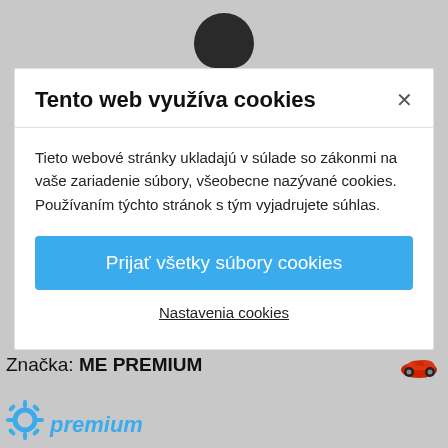[Figure (screenshot): Top portion of a product page showing a black gear shift knob on grey background]
Tento web využíva cookies
Tieto webové stránky ukladajú v súlade so zákonmi na vaše zariadenie súbory, všeobecne nazývané cookies. Používaním týchto stránok s tým vyjadrujete súhlas.
Prijať všetky súbory cookies
Nastavenia cookies
PRIDAŤ DO KOŠÍKA
Značka: ME PREMIUM
[Figure (logo): ME Premium logo with gear icon and blue italic text 'premium']